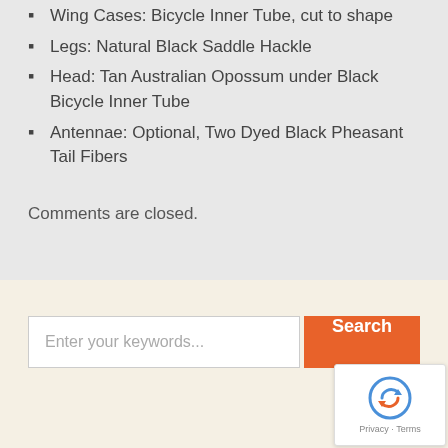Wing Cases: Bicycle Inner Tube, cut to shape
Legs: Natural Black Saddle Hackle
Head: Tan Australian Opossum under Black Bicycle Inner Tube
Antennae: Optional, Two Dyed Black Pheasant Tail Fibers
Comments are closed.
[Figure (screenshot): Search bar with text input placeholder 'Enter your keywords...' and an orange 'Search' button, on a beige background. A reCAPTCHA badge appears in the bottom right corner with 'Privacy - Terms' text.]